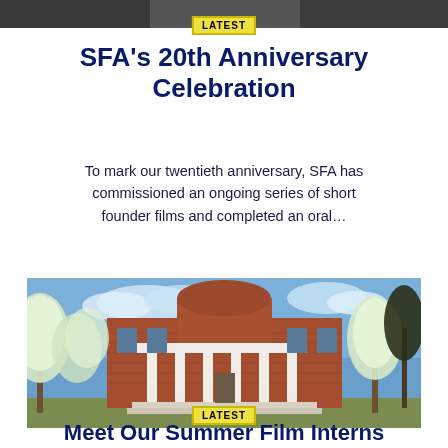[Figure (photo): Dark/grey top image strip cropped at top of page]
SFA's 20th Anniversary Celebration
To mark our twentieth anniversary, SFA has commissioned an ongoing series of short founder films and completed an oral…
[Figure (photo): Photograph of a red brick building with white columns and blooming white trees in front, blue sky background]
Meet Our Summer Film Interns